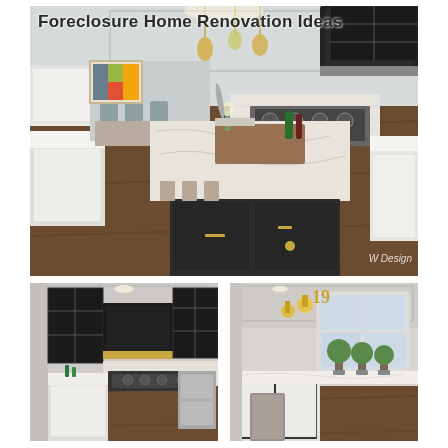[Figure (photo): Large luxury kitchen interior with white cabinetry, dark wood floors, large marble island with dark base cabinets and brass hardware, pendant lights, stainless steel range hood, colorful artwork on wall, dining area visible in background. Text overlay: 'Foreclosure Home Renovation Ideas'. Watermark: 'W Design'.]
[Figure (photo): Kitchen interior showing black grid-pane upper cabinets, dark range hood with brass accent, white lower cabinets, professional range, stainless steel appliances, dark wood floor.]
[Figure (photo): Bright white kitchen with tray ceiling, gold wall sconces, large windows, white cabinetry, marble countertops, topiary plants on counter, gray upholstered chair visible.]